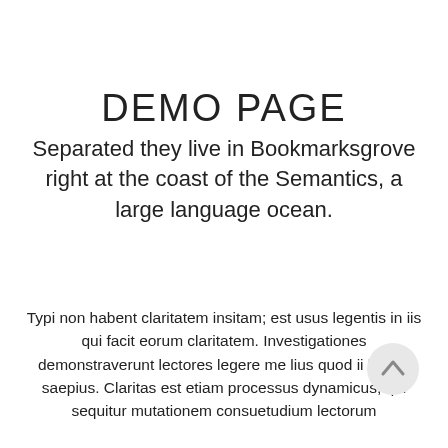DEMO PAGE
Separated they live in Bookmarksgrove right at the coast of the Semantics, a large language ocean.
Typi non habent claritatem insitam; est usus legentis in iis qui facit eorum claritatem. Investigationes demonstraverunt lectores legere me lius quod ii legunt saepius. Claritas est etiam processus dynamicus, qui sequitur mutationem consuetudium lectorum